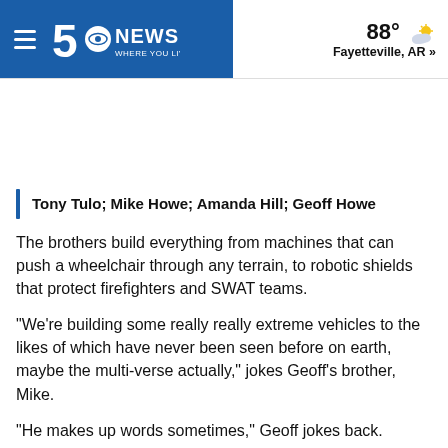5NEWS WHERE YOU LIVE — 88° Fayetteville, AR »
Tony Tulo; Mike Howe; Amanda Hill; Geoff Howe
The brothers build everything from machines that can push a wheelchair through any terrain, to robotic shields that protect firefighters and SWAT teams.
"We're building some really really extreme vehicles to the likes of which have never been seen before on earth, maybe the multi-verse actually," jokes Geoff's brother, Mike.
"He makes up words sometimes," Geoff jokes back.